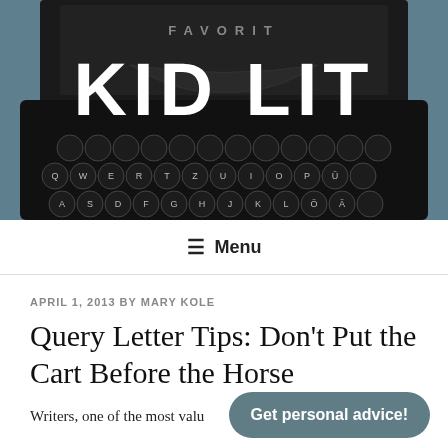[Figure (photo): Close-up photograph of a vintage black typewriter (Favorit brand) keyboard with circular keys, on a teal/blue-grey background. Large white bold text 'KID LIT' overlaid in the center.]
KID LIT
☰ Menu
APRIL 1, 2013 BY MARY KOLE
Query Letter Tips: Don't Put the Cart Before the Horse
Writers, one of the most valuable query letter tips
Get personal advice!